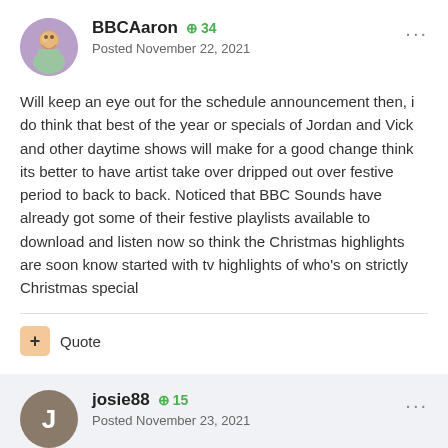BBCAaron  +34
Posted November 22, 2021
Will keep an eye out for the schedule announcement then, i do think that best of the year or specials of Jordan and Vick and other daytime shows will make for a good change think its better to have artist take over dripped out over festive period to back to back. Noticed that BBC Sounds have already got some of their festive playlists available to download and listen now so think the Christmas highlights are soon know started with tv highlights of who's on strictly Christmas special
+ Quote
josie88  +15
Posted November 23, 2021